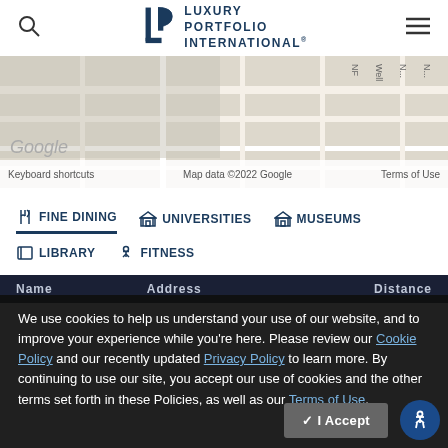[Figure (screenshot): Luxury Portfolio International website header with search icon, LPI logo, and hamburger menu]
[Figure (map): Google Maps partial view with keyboard shortcuts, map data 2022 Google attribution, and Terms of Use]
FINE DINING   UNIVERSITIES   MUSEUMS   LIBRARY   FITNESS
We use cookies to help us understand your use of our website, and to improve your experience while you're here. Please review our Cookie Policy and our recently updated Privacy Policy to learn more. By continuing to use our site, you accept our use of cookies and the other terms set forth in these Policies, as well as our Terms of Use.
| Name | Address | Distance |
| --- | --- | --- |
| Mastro's | 520 N Dearborn St | 0.5 mi |
| Sullivan's | 415 N Dearborn | ... |
| Eddie Vie Bar... | 531 N D... | ... |
✓ I Accept